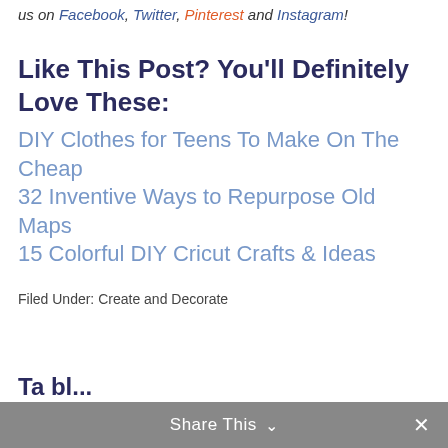us on Facebook, Twitter, Pinterest and Instagram!
Like This Post? You'll Definitely Love These:
DIY Clothes for Teens To Make On The Cheap
32 Inventive Ways to Repurpose Old Maps
15 Colorful DIY Cricut Crafts & Ideas
Filed Under: Create and Decorate
Share This  ×